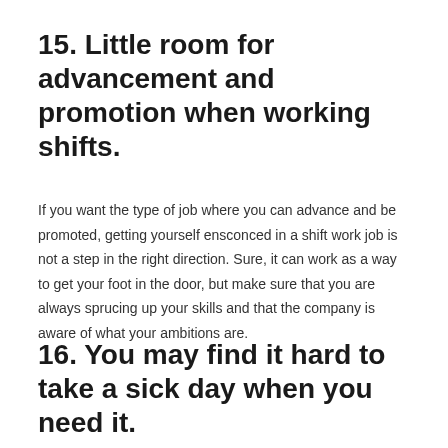15. Little room for advancement and promotion when working shifts.
If you want the type of job where you can advance and be promoted, getting yourself ensconced in a shift work job is not a step in the right direction. Sure, it can work as a way to get your foot in the door, but make sure that you are always sprucing up your skills and that the company is aware of what your ambitions are.
16. You may find it hard to take a sick day when you need it.